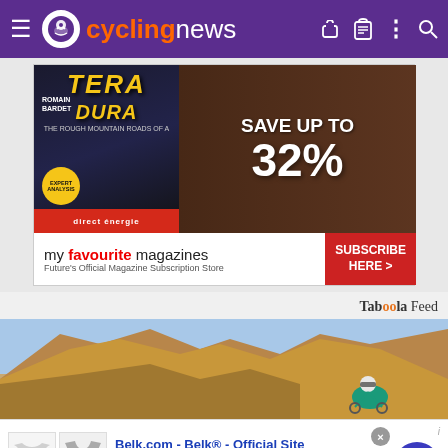cyclingnews navigation bar with logo, hamburger menu, and icons
[Figure (photo): Magazine subscription advertisement showing Terracotta cycling magazine cover with Romain Bardet, Save Up To 32% text, and My Favourite Magazines / Subscribe Here banner]
my favourite magazines — Future's Official Magazine Subscription Store — SUBSCRIBE HERE >
Taboola Feed
[Figure (photo): Cyclist riding in a desert landscape with rocky cliffs and blue sky]
[Figure (screenshot): Belk.com advertisement overlay: Belk® - Official Site, Up To 40% Off Kids & Baby Apparel, www.belk.com, with children's clothing images and blue navigation arrow button]